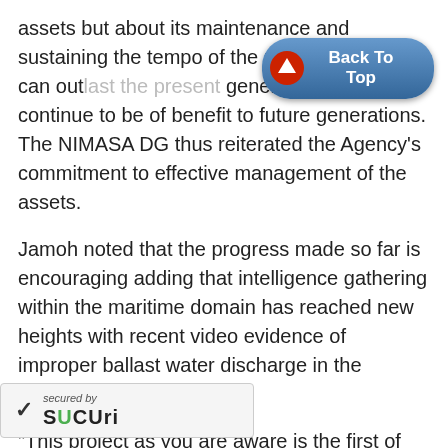assets but about its maintenance and sustaining the tempo of the project so that it can outlast the present generations and continue to be of benefit to future generations. The NIMASA DG thus reiterated the Agency's commitment to effective management of the assets.
Jamoh noted that the progress made so far is encouraging adding that intelligence gathering within the maritime domain has reached new heights with recent video evidence of improper ballast water discharge in the nation's waters.
“This project as you are aware is the first of this kind and we are doing so many things for the first time as a government working with the Armed Forces, and our commitment is unflinching,” said Jamoh.